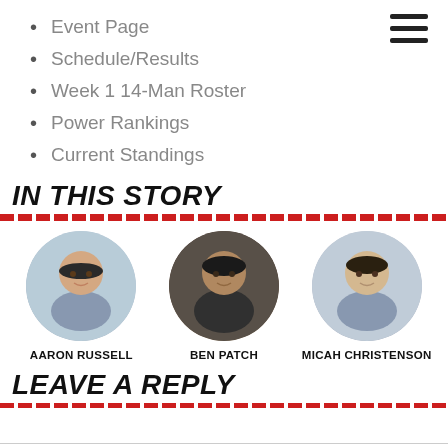Event Page
Schedule/Results
Week 1 14-Man Roster
Power Rankings
Current Standings
IN THIS STORY
[Figure (photo): Circular headshot photo of Aaron Russell]
AARON RUSSELL
[Figure (photo): Circular headshot photo of Ben Patch]
BEN PATCH
[Figure (photo): Circular headshot photo of Micah Christenson]
MICAH CHRISTENSON
LEAVE A REPLY